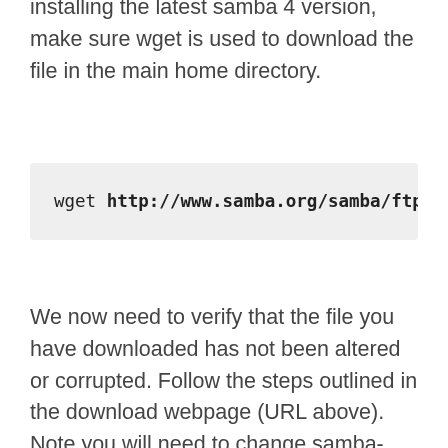installing the latest samba 4 version, make sure wget is used to download the file in the main home directory.
wget http://www.samba.org/samba/ftp/s
We now need to verify that the file you have downloaded has not been altered or corrupted. Follow the steps outlined in the download webpage (URL above). Note you will need to change samba-version to samba-latest.
gpg --import samba-pubkey.asc